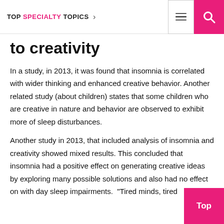TOP SPECIALTY TOPICS
to creativity
In a study, in 2013, it was found that insomnia is correlated with wider thinking and enhanced creative behavior. Another related study (about children) states that some children who are creative in nature and behavior are observed to exhibit more of sleep disturbances.
Another study in 2013, that included analysis of insomnia and creativity showed mixed results. This concluded that insomnia had a positive effect on generating creative ideas by exploring many possible solutions and also had no effect on with day sleep impairments.  "Tired minds, tired